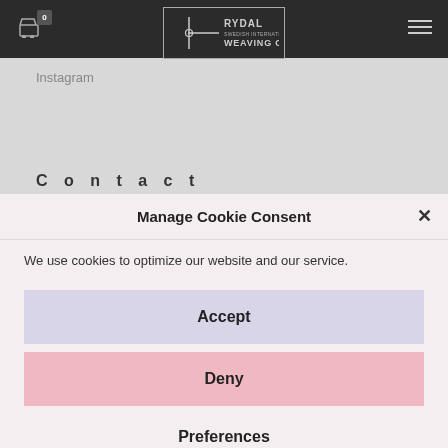[Figure (logo): Rydal Swedish International Weaving Center logo in a bordered box]
Instagram
C o n t a c t
Manage Cookie Consent
We use cookies to optimize our website and our service.
Accept
Deny
Preferences